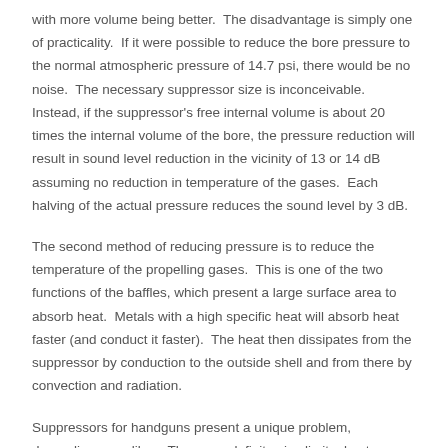with more volume being better.  The disadvantage is simply one of practicality.  If it were possible to reduce the bore pressure to the normal atmospheric pressure of 14.7 psi, there would be no noise.  The necessary suppressor size is inconceivable.  Instead, if the suppressor's free internal volume is about 20 times the internal volume of the bore, the pressure reduction will result in sound level reduction in the vicinity of 13 or 14 dB assuming no reduction in temperature of the gases.  Each halving of the actual pressure reduces the sound level by 3 dB.
The second method of reducing pressure is to reduce the temperature of the propelling gases.  This is one of the two functions of the baffles, which present a large surface area to absorb heat.  Metals with a high specific heat will absorb heat faster (and conduct it faster).  The heat then dissipates from the suppressor by conduction to the outside shell and from there by convection and radiation.
Suppressors for handguns present a unique problem, depending on caliber.  There are definite size limits due to cycling, sighting, and concealability issues as well as having a physically large suppressor making the weapon unwieldy.